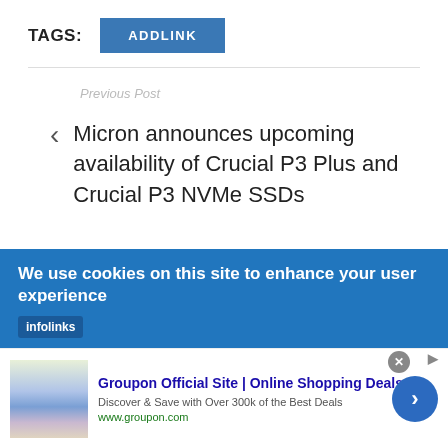TAGS:
ADDLINK
Previous Post
Micron announces upcoming availability of Crucial P3 Plus and Crucial P3 NVMe SSDs
We use cookies on this site to enhance your user experience
infolinks
Groupon Official Site | Online Shopping Deals
Discover & Save with Over 300k of the Best Deals
www.groupon.com